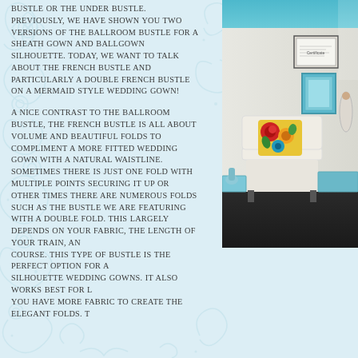BUSTLE OR THE UNDER BUSTLE. PREVIOUSLY, WE HAVE SHOWN YOU TWO VERSIONS OF THE BALLROOM BUSTLE FOR A SHEATH GOWN AND BALLGOWN SILHOUETTE. TODAY, WE WANT TO TALK ABOUT THE FRENCH BUSTLE AND PARTICULARLY A DOUBLE FRENCH BUSTLE ON A MERMAID STYLE WEDDING GOWN!
[Figure (photo): Interior photo of a bridal boutique or salon room with teal ceiling, white furniture, framed certificates on walls, and colorful floral pillows on a white chair]
A NICE CONTRAST TO THE BALLROOM BUSTLE, THE FRENCH BUSTLE IS ALL ABOUT VOLUME AND BEAUTIFUL FOLDS TO COMPLIMENT A MORE FITTED WEDDING GOWN WITH A NATURAL WAISTLINE. SOMETIMES THERE IS JUST ONE FOLD WITH MULTIPLE POINTS SECURING IT UP OR OTHER TIMES THERE ARE NUMEROUS FOLDS SUCH AS THE BUSTLE WE ARE FEATURING WITH A DOUBLE FOLD. THIS LARGELY DEPENDS ON YOUR FABRIC, THE LENGTH OF YOUR TRAIN, AND OF COURSE. THIS TYPE OF BUSTLE IS THE PERFECT OPTION FOR A SILHOUETTE WEDDING GOWNS. IT ALSO WORKS BEST FOR LO YOU HAVE MORE FABRIC TO CREATE THE ELEGANT FOLDS. TH